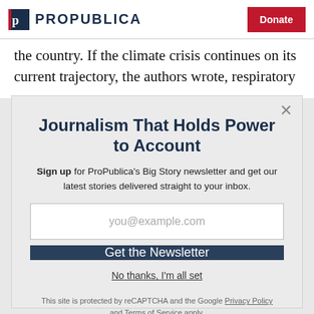ProPublica | Donate
the country. If the climate crisis continues on its current trajectory, the authors wrote, respiratory
Journalism That Holds Power to Account
Sign up for ProPublica's Big Story newsletter and get our latest stories delivered straight to your inbox.
you@example.com
Get the Newsletter
No thanks, I'm all set
This site is protected by reCAPTCHA and the Google Privacy Policy and Terms of Service apply.